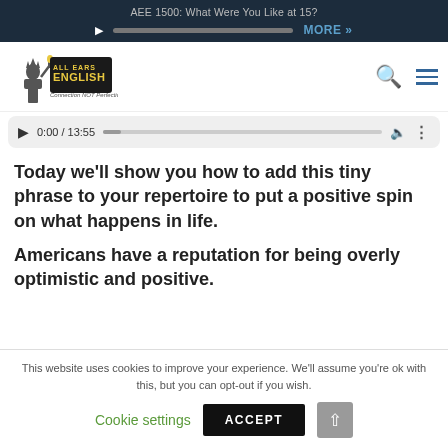AEE 1500: What Were You Like at 15?
[Figure (screenshot): All Ears English podcast logo with Statue of Liberty illustration, Connection NOT Perfection tagline]
[Figure (screenshot): Audio player showing 0:00 / 13:55 with play button, progress bar, volume and more options]
Today we'll show you how to add this tiny phrase to your repertoire to put a positive spin on what happens in life.
Americans have a reputation for being overly optimistic and positive.
This website uses cookies to improve your experience. We'll assume you're ok with this, but you can opt-out if you wish.
Cookie settings   ACCEPT